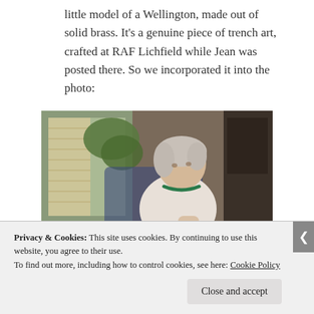little model of a Wellington, made out of solid brass. It's a genuine piece of trench art, crafted at RAF Lichfield while Jean was posted there. So we incorporated it into the photo:
[Figure (photo): An elderly woman with white hair, wearing a white short-sleeved top and a green necklace, seated in a blue chair near a window with blinds and greenery outside. She appears to be holding a small brass Wellington bomber model. Wooden furniture visible in background.]
Privacy & Cookies: This site uses cookies. By continuing to use this website, you agree to their use.
To find out more, including how to control cookies, see here: Cookie Policy
Close and accept